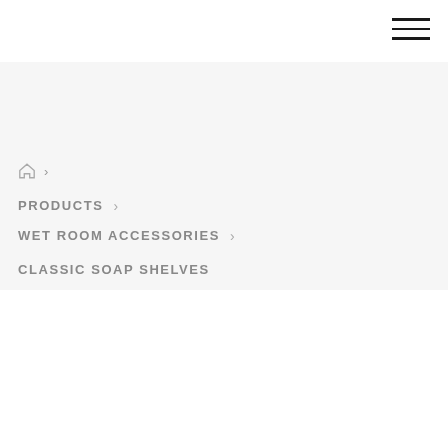[Figure (illustration): Hamburger menu icon with three horizontal lines in top right corner]
🏠 >
PRODUCTS >
WET ROOM ACCESSORIES >
CLASSIC SOAP SHELVES